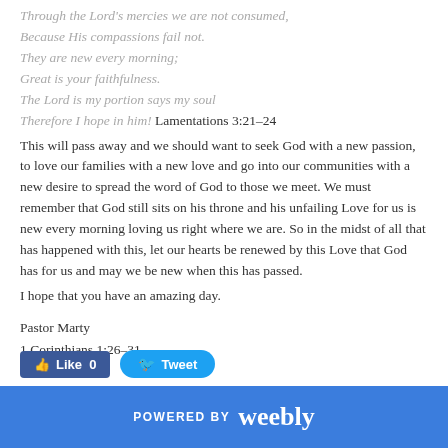Through the Lord's mercies we are not consumed,
Because His compassions fail not.
They are new every morning;
Great is your faithfulness.
The Lord is my portion says my soul
Therefore I hope in him! Lamentations 3:21–24
This will pass away and we should want to seek God with a new passion, to love our families with a new love and go into our communities with a new desire to spread the word of God to those we meet. We must remember that God still sits on his throne and his unfailing Love for us is new every morning loving us right where we are. So in the midst of all that has happened with this, let our hearts be renewed by this Love that God has for us and may we be new when this has passed.
I hope that you have an amazing day.
Pastor Marty
1 Corinthians 1:26–31
[Figure (screenshot): Facebook Like button (count 0) and Twitter Tweet button]
POWERED BY weebly